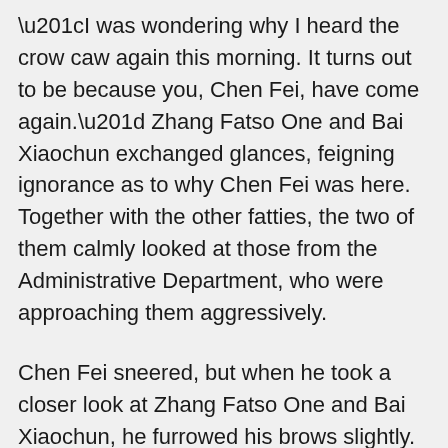“I was wondering why I heard the crow caw again this morning. It turns out to be because you, Chen Fei, have come again.” Zhang Fatso One and Bai Xiaochun exchanged glances, feigning ignorance as to why Chen Fei was here. Together with the other fatties, the two of them calmly looked at those from the Administrative Department, who were approaching them aggressively.
Chen Fei sneered, but when he took a closer look at Zhang Fatso One and Bai Xiaochun, he furrowed his brows slightly. It was really strange that these people in the Burning Stoves Kitchen were so calm.
He was rather excited on the way here, thinking that